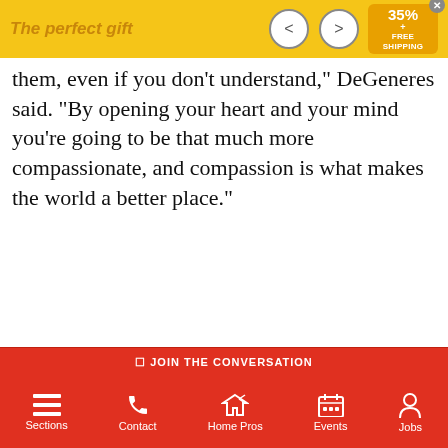[Figure (screenshot): Advertisement banner: 'The perfect gift' with navigation arrows and 35% + FREE SHIPPING badge]
them, even if you don't understand," DeGeneres said. "By opening your heart and your mind you're going to be that much more compassionate, and compassion is what makes the world a better place."
[Figure (screenshot): Social share buttons: Facebook (blue), Twitter (light blue), Email (grey), Plus/More (red-orange)]
[Figure (screenshot): Video player bar: 'How the 'Devil in Ohio' Series Differs Fr...' with close X button]
[Figure (photo): Video frame showing Daria Polatin, Executive producer, Author, with Entertainment Weekly logo]
[Figure (screenshot): Bottom navigation bar with Sections, Contact, Home Pros, Events, Jobs icons in red]